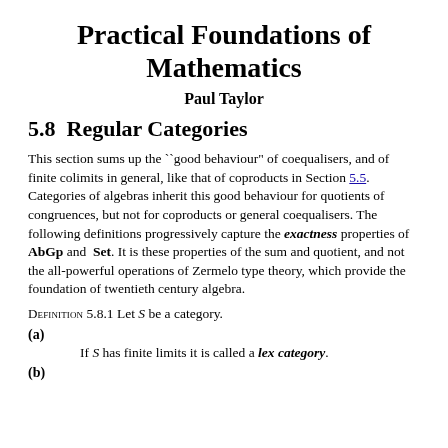Practical Foundations of Mathematics
Paul Taylor
5.8  Regular Categories
This section sums up the ``good behaviour" of coequalisers, and of finite colimits in general, like that of coproducts in Section 5.5. Categories of algebras inherit this good behaviour for quotients of congruences, but not for coproducts or general coequalisers. The following definitions progressively capture the exactness properties of AbGp and  Set. It is these properties of the sum and quotient, and not the all-powerful operations of Zermelo type theory, which provide the foundation of twentieth century algebra.
Definition 5.8.1 Let S be a category.
(a)
        If S has finite limits it is called a lex category.
(b)